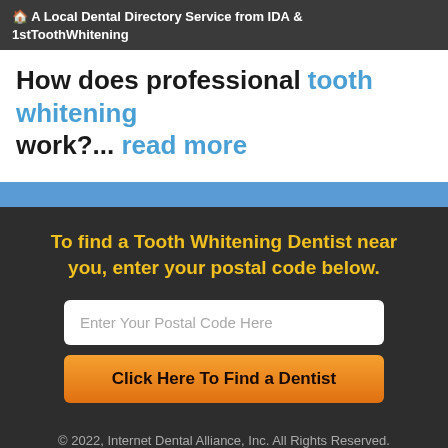🏠 A Local Dental Directory Service from IDA & 1stToothWhitening
How does professional tooth whitening work?... read more
To find a Tooth Whitening Dentist near you, enter your postal code below.
Enter Your Postal Code Here
Click Here To Find a Dentist
© 2022, Internet Dental Alliance, Inc. All Rights Reserved.
About Us - Terms of Service Agreement - Privacy Policy - Accessibility Statement - Doctor Registration